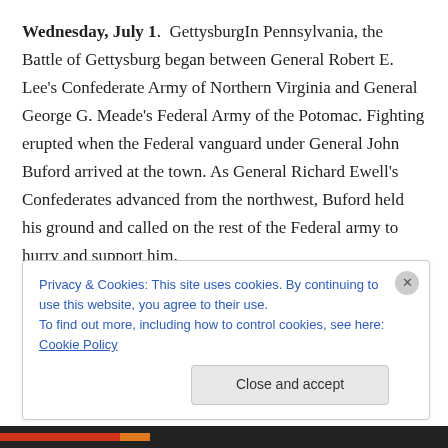Wednesday, July 1. GettysburgIn Pennsylvania, the Battle of Gettysburg began between General Robert E. Lee's Confederate Army of Northern Virginia and General George G. Meade's Federal Army of the Potomac. Fighting erupted when the Federal vanguard under General John Buford arrived at the town. As General Richard Ewell's Confederates advanced from the northwest, Buford held his ground and called on the rest of the Federal army to hurry and support him.

Reinforcements gradually arrived on both sides, and the
Privacy & Cookies: This site uses cookies. By continuing to use this website, you agree to their use.
To find out more, including how to control cookies, see here: Cookie Policy

Close and accept